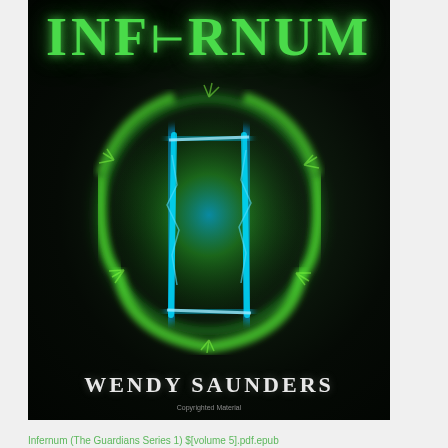[Figure (illustration): Book cover of 'INFERNUM' by Wendy Saunders. Dark background with a glowing green circular orb containing a Gemini-like symbol made of blue-green energy. Title 'INFERNUM' in large green glowing letters at top. Author name 'WENDY SAUNDERS' in white letters at the bottom. Small 'Copyrighted Material' text below author name.]
Infernum (The Guardians Series 1) $[volume 5].pdf.epub